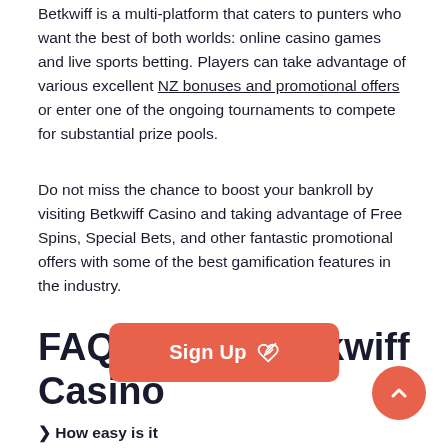Betkwiff is a multi-platform that caters to punters who want the best of both worlds: online casino games and live sports betting. Players can take advantage of various excellent NZ bonuses and promotional offers or enter one of the ongoing tournaments to compete for substantial prize pools.
Do not miss the chance to boost your bankroll by visiting Betkwiff Casino and taking advantage of Free Spins, Special Bets, and other fantastic promotional offers with some of the best gamification features in the industry.
FAQs about Betkwiff Casino
❯ How easy is it...
The Betkwiff Casino signup process is quite simple.